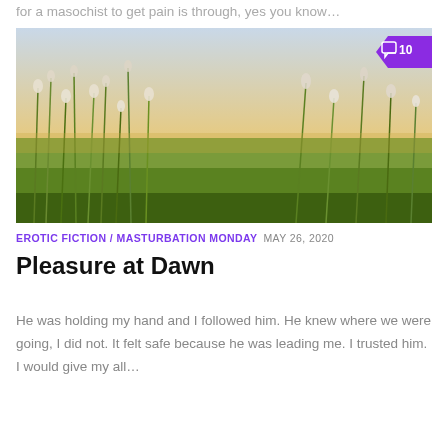for a masochist to get pain is through, yes you know…
[Figure (photo): Sunlit field with tall grasses and cotton-like wildflowers in the foreground, golden sunset light in the background. A purple comment badge showing '10' overlays the top-right corner.]
EROTIC FICTION / MASTURBATION MONDAY  MAY 26, 2020
Pleasure at Dawn
He was holding my hand and I followed him. He knew where we were going, I did not. It felt safe because he was leading me. I trusted him. I would give my all…